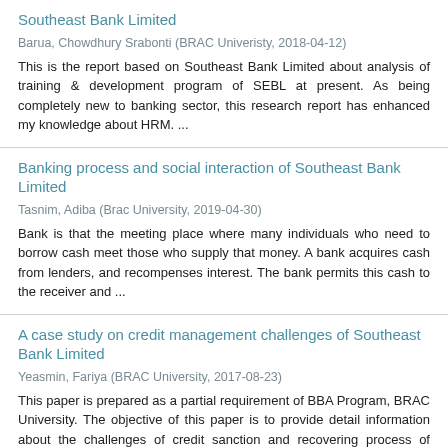Southeast Bank Limited
Barua, Chowdhury Srabonti (BRAC Univeristy, 2018-04-12)
This is the report based on Southeast Bank Limited about analysis of training & development program of SEBL at present. As being completely new to banking sector, this research report has enhanced my knowledge about HRM. ...
Banking process and social interaction of Southeast Bank Limited
Tasnim, Adiba (Brac University, 2019-04-30)
Bank is that the meeting place where many individuals who need to borrow cash meet those who supply that money. A bank acquires cash from lenders, and recompenses interest. The bank permits this cash to the receiver and ...
A case study on credit management challenges of Southeast Bank Limited
Yeasmin, Fariya (BRAC University, 2017-08-23)
This paper is prepared as a partial requirement of BBA Program, BRAC University. The objective of this paper is to provide detail information about the challenges of credit sanction and recovering process of Southeast Bank ...